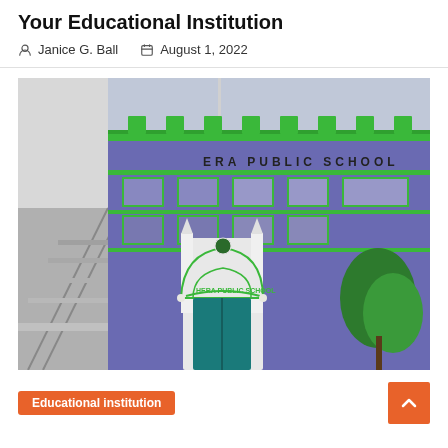Your Educational Institution
Janice G. Ball  August 1, 2022
[Figure (photo): Photograph of Hera Public School building facade — a purple and green painted multi-story school building with a white arched entrance gate labeled 'HERA PUBLIC SCHOOL', staircase on the left, and trees on the right.]
Educational institution